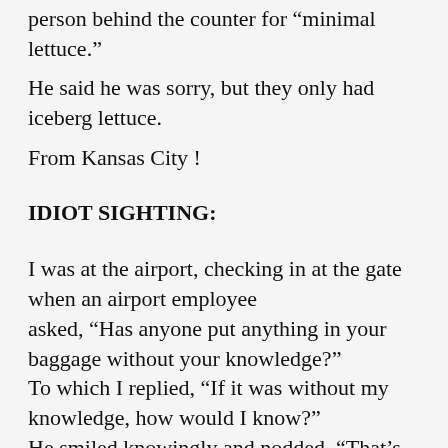person behind the counter for “minimal lettuce.”
He said he was sorry, but they only had iceberg lettuce.
From Kansas City !
IDIOT SIGHTING:
I was at the airport, checking in at the gate when an airport employee asked, “Has anyone put anything in your baggage without your knowledge?” To which I replied, “If it was without my knowledge, how would I know?” He smiled knowingly and nodded, “That’s why we ask.”